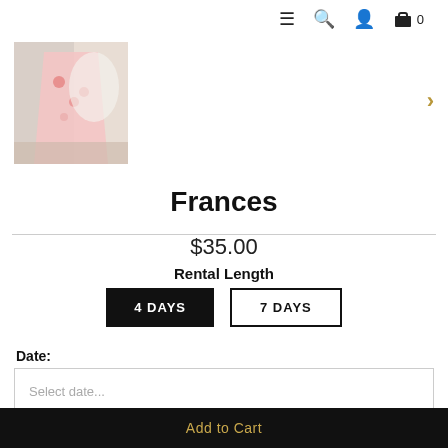≡ 🔍 👤 🛍 0
[Figure (photo): Product photo of a floral maxi dress displayed on a model, thumbnail view]
Frances
$35.00
Rental Length
4 DAYS   7 DAYS
Date:
Select date...
Add to Cart